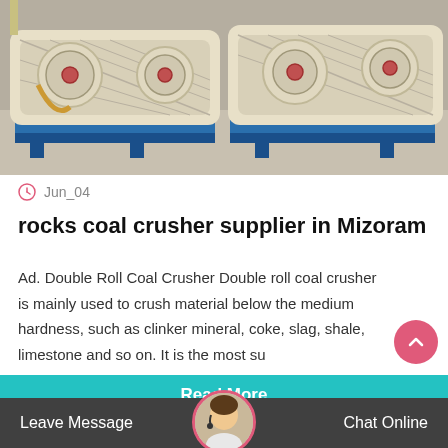[Figure (photo): Industrial double roll coal crusher machines on blue steel frames in a warehouse setting. Cream/beige colored machinery with circular disk elements visible.]
Jun_04
rocks coal crusher supplier in Mizoram
Ad. Double Roll Coal Crusher Double roll coal crusher is mainly used to crush material below the medium hardness, such as clinker mineral, coke, slag, shale, limestone and so on. It is the most su
Read More
Leave Message
Chat Online